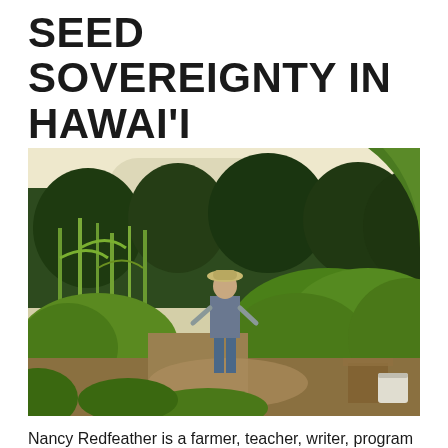SEED SOVEREIGNTY IN HAWAI'I
[Figure (photo): A woman wearing a hat stands in a lush garden with tall corn stalks on the left, large-leafed plants on the right, and dense green trees in the background. A white bucket and wooden structure are visible in the lower right corner. The photo has warm, sunlit tones suggesting a summer day.]
Nancy Redfeather is a farmer, teacher, writer, program director and activist.